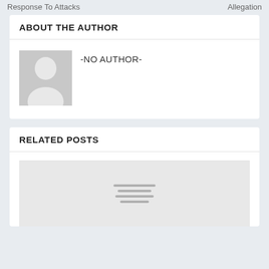Response To Attacks    Allegation
ABOUT THE AUTHOR
[Figure (illustration): Default user avatar placeholder — grey square with a white silhouette of a person (head and shoulders)]
-NO AUTHOR-
RELATED POSTS
[Figure (illustration): Placeholder image for a related post — light grey rectangle with three short horizontal lines centered, representing a text/image placeholder]